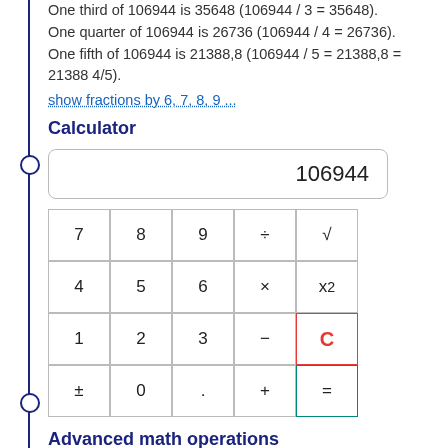One third of 106944 is 35648 (106944 / 3 = 35648). One quarter of 106944 is 26736 (106944 / 4 = 26736). One fifth of 106944 is 21388,8 (106944 / 5 = 21388,8 = 21388 4/5).
show fractions by 6, 7, 8, 9 ...
Calculator
[Figure (screenshot): Calculator widget showing display with 106944 and a 4x5 grid of buttons: 7,8,9,÷,√ / 4,5,6,×,x² / 1,2,3,−,C / ±,0,.,+,=]
Advanced math operations
Is Prime?